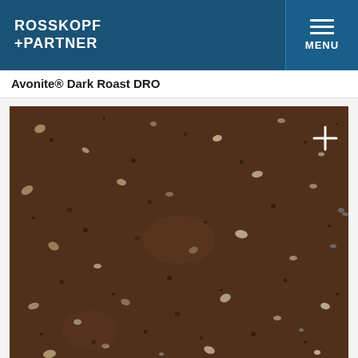ROSSKOPF +PARTNER | MENU
Avonite® Dark Roast DRO
[Figure (photo): Close-up texture photo of Avonite Dark Roast DRO solid surface material — dark brown speckled stone-like surface with scattered beige, white, and dark mineral flecks, with a zoom/expand plus icon in the upper right corner.]